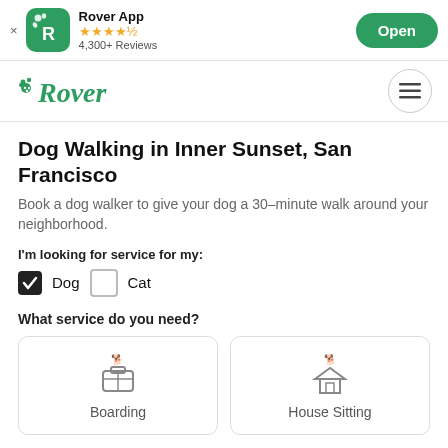Rover App | ★★★★½ | 4,300+ Reviews | Open
[Figure (logo): Rover logo with paw print and green text]
Dog Walking in Inner Sunset, San Francisco
Book a dog walker to give your dog a 30–minute walk around your neighborhood.
I'm looking for service for my:
✓ Dog  ☐ Cat
What service do you need?
Boarding
House Sitting